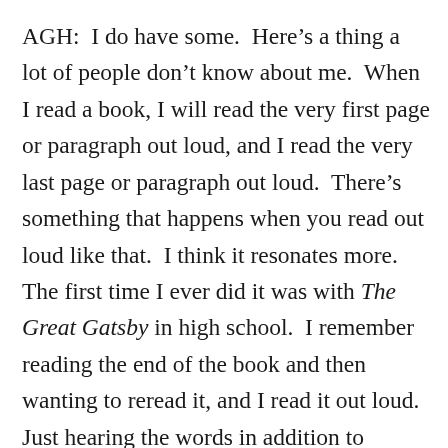AGH:  I do have some.  Here's a thing a lot of people don't know about me.  When I read a book, I will read the very first page or paragraph out loud, and I read the very last page or paragraph out loud.  There's something that happens when you read out loud like that.  I think it resonates more.  The first time I ever did it was with The Great Gatsby in high school.  I remember reading the end of the book and then wanting to reread it, and I read it out loud.  Just hearing the words in addition to reading them, it sticks for me more.  It's just one of those weird little things I do that a lot of people don't know.